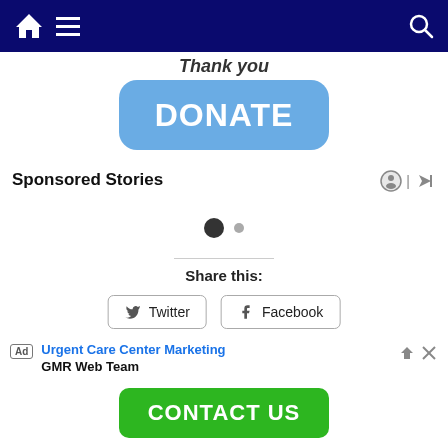Navigation bar with home, menu, and search icons
Thank you
[Figure (other): Blue rounded DONATE button]
Sponsored Stories
[Figure (other): Carousel dots: one filled dark circle and one smaller gray dot]
Share this:
[Figure (other): Share buttons: Twitter and Facebook]
Ad  Urgent Care Center Marketing  GMR Web Team
[Figure (other): Green CONTACT US button]